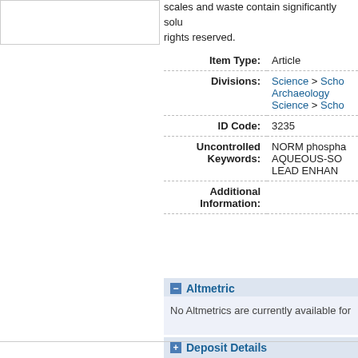scales and waste contain significantly solu... rights reserved.
| Field | Value |
| --- | --- |
| Item Type: | Article |
| Divisions: | Science > Scho... Archaeology Science > Scho... |
| ID Code: | 3235 |
| Uncontrolled Keywords: | NORM phospha... AQUEOUS-SO... LEAD ENHAN... |
| Additional Information: |  |
− Altmetric
No Altmetrics are currently available for
+ Deposit Details